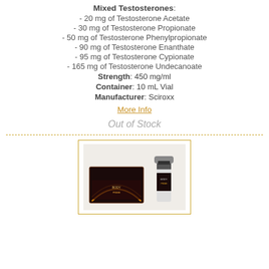Mixed Testosterones:
- 20 mg of Testosterone Acetate
- 30 mg of Testosterone Propionate
- 50 mg of Testosterone Phenylpropionate
- 90 mg of Testosterone Enanthate
- 95 mg of Testosterone Cypionate
- 165 mg of Testosterone Undecanoate
Strength: 450 mg/ml
Container: 10 mL Vial
Manufacturer: Sciroxx
More Info
Out of Stock
[Figure (photo): Product photo showing a box and vial of a testosterone blend injectable product by Sciroxx, with dark red/black label packaging.]